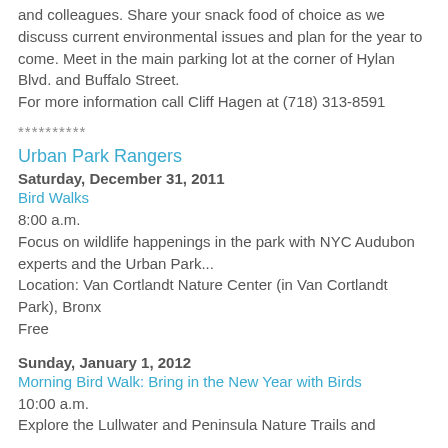and colleagues. Share your snack food of choice as we discuss current environmental issues and plan for the year to come. Meet in the main parking lot at the corner of Hylan Blvd. and Buffalo Street.
For more information call Cliff Hagen at (718) 313-8591
**********
Urban Park Rangers
Saturday, December 31, 2011
Bird Walks
8:00 a.m.
Focus on wildlife happenings in the park with NYC Audubon experts and the Urban Park...
Location: Van Cortlandt Nature Center (in Van Cortlandt Park), Bronx
Free
Sunday, January 1, 2012
Morning Bird Walk: Bring in the New Year with Birds
10:00 a.m.
Explore the Lullwater and Peninsula Nature Trails and